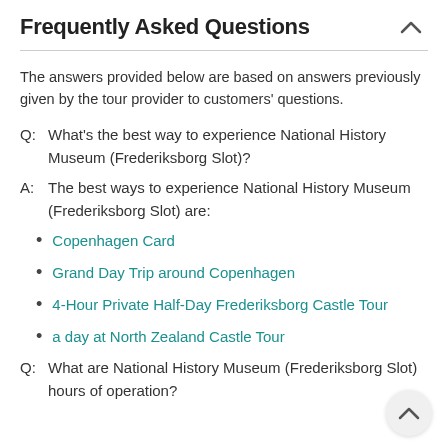Frequently Asked Questions
The answers provided below are based on answers previously given by the tour provider to customers' questions.
Q:  What's the best way to experience National History Museum (Frederiksborg Slot)?
A:  The best ways to experience National History Museum (Frederiksborg Slot) are:
Copenhagen Card
Grand Day Trip around Copenhagen
4-Hour Private Half-Day Frederiksborg Castle Tour
a day at North Zealand Castle Tour
Q:  What are National History Museum (Frederiksborg Slot) hours of operation?